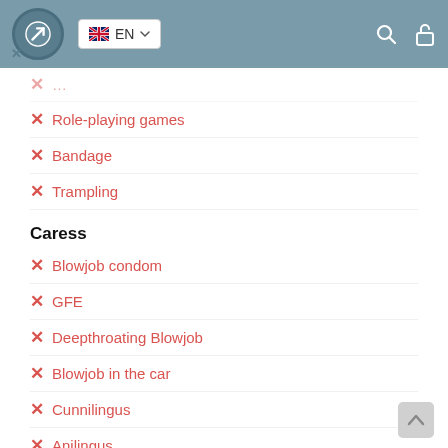EN
Role-playing games
Bandage
Trampling
Caress
Blowjob condom
GFE
Deepthroating Blowjob
Blowjob in the car
Cunnilingus
Anilingus
Fisting
Classic fisting
Anal fisting
Extreme fisting